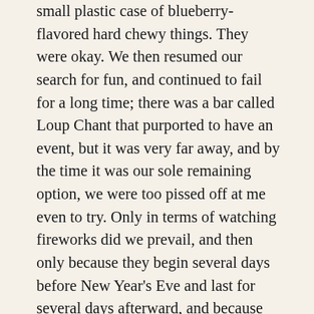small plastic case of blueberry-flavored hard chewy things. They were okay. We then resumed our search for fun, and continued to fail for a long time; there was a bar called Loup Chant that purported to have an event, but it was very far away, and by the time it was our sole remaining option, we were too pissed off at me even to try. Only in terms of watching fireworks did we prevail, and then only because they begin several days before New Year's Eve and last for several days afterward, and because our very apartment is an excellent place from which to see them: they are shot off from everywhere in the city, constantly, for hours, and on the night in question the true barrage began at five minutes to midnight and lasted exactly five minutes—hundreds or perhaps thousands of pretty